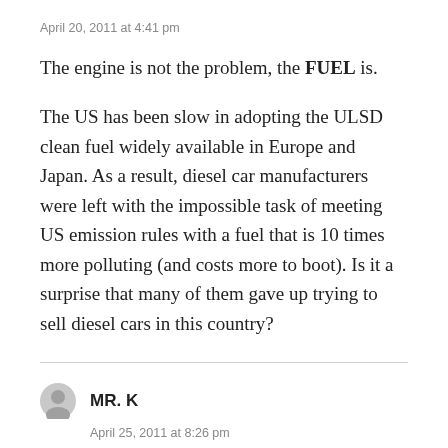April 20, 2011 at 4:41 pm
The engine is not the problem, the FUEL is.
The US has been slow in adopting the ULSD clean fuel widely available in Europe and Japan. As a result, diesel car manufacturers were left with the impossible task of meeting US emission rules with a fuel that is 10 times more polluting (and costs more to boot). Is it a surprise that many of them gave up trying to sell diesel cars in this country?
MR. K
April 25, 2011 at 8:26 pm